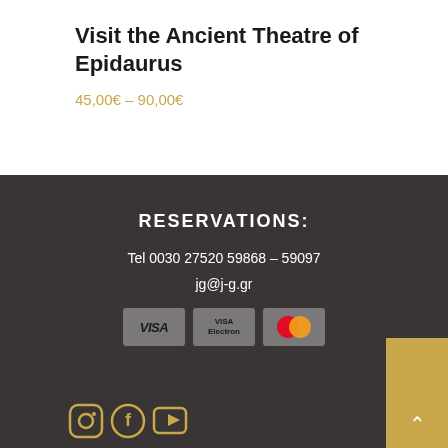Visit the Ancient Theatre of Epidaurus
45,00€ – 90,00€
RESERVATIONS:
Tel 0030 27520 59868 – 59097
jg@j-g.gr
[Figure (other): Payment method icons: VISA, VISA Electron, Mastercard]
[Figure (other): Social media icons: Instagram, Facebook, YouTube]
[Figure (other): Gold scroll-to-top button with upward arrow]